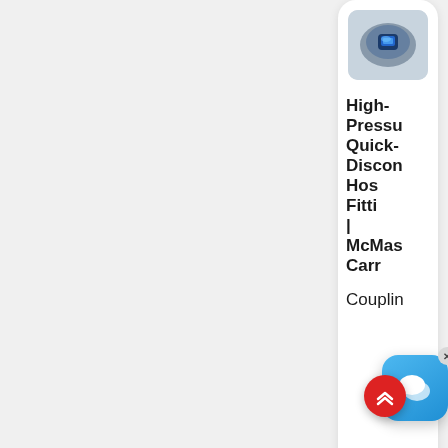[Figure (photo): Product image of a high-pressure quick-disconnect fitting, showing a blue/dark mechanical coupling device]
High-Pressure Quick-Disconnect Hose Fittings | McMaster-Carr
Coupling
[Figure (illustration): Chat bubble / messaging app popup overlay with blue gradient background]
[Figure (photo): Product image of hydraulic hoses, showing several black hydraulic hoses with metal fittings]
Hydra...